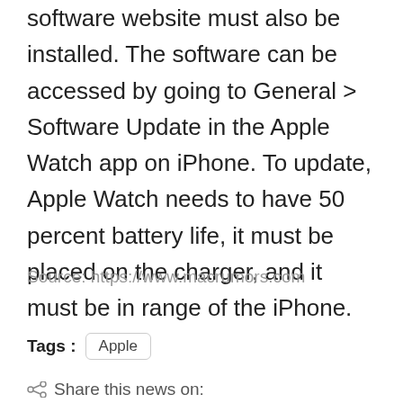software website must also be installed. The software can be accessed by going to General > Software Update in the Apple Watch app on iPhone. To update, Apple Watch needs to have 50 percent battery life, it must be placed on the charger, and it must be in range of the iPhone.
Source: https://www.macrumors.com
Tags : Apple
Share this news on: